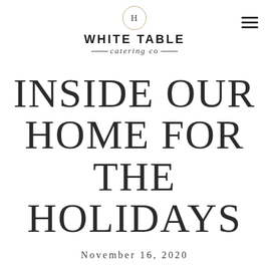[Figure (logo): White Table Catering Co. logo with circle H emblem, bold sans-serif brand name, and italic script tagline]
INSIDE OUR HOME FOR THE HOLIDAYS
November 16, 2020
[Figure (photo): Interior holiday home photo showing a decorated Christmas tree, modern chandelier, arched mirror, and fireplace in a bright white room]